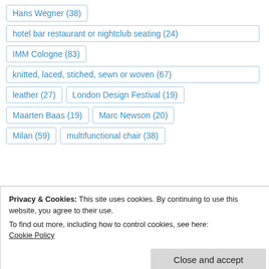Hans Wegner (38)
hotel bar restaurant or nightclub seating (24)
IMM Cologne (83)
knitted, laced, stiched, sewn or woven (67)
leather (27)
London Design Festival (19)
Maarten Baas (19)
Marc Newson (20)
Milan (59)
multifunctional chair (38)
Privacy & Cookies: This site uses cookies. By continuing to use this website, you agree to their use.
To find out more, including how to control cookies, see here: Cookie Policy